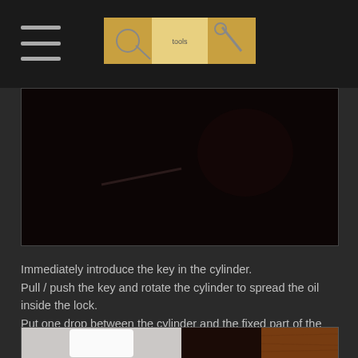[Navigation header with hamburger menu and logo banner]
[Figure (photo): Dark photograph showing a close-up of a lock cylinder, nearly black image]
Immediately introduce the key in the cylinder.
Pull / push the key and rotate the cylinder to spread the oil inside the lock.
Put one drop between the cylinder and the fixed part of the lock and rotate again the cylinder.
Keep a paper tissue in hand for removing excess oil.
[Figure (photo): Partial photo at bottom showing what appears to be a white object and wooden surface]